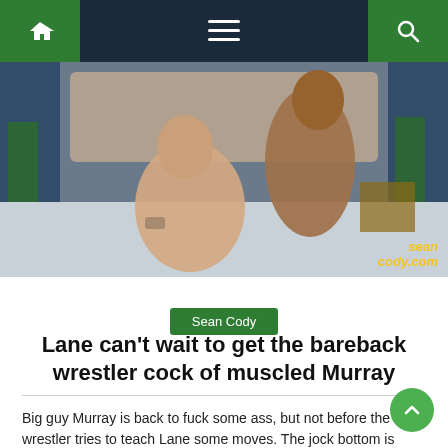Navigation bar with home, menu, and search icons
[Figure (photo): Two muscular men on a bed in a bedroom setting with blue curtains and green plants in the background. A watermark reading 'sean cody.com' is in the bottom right corner.]
Sean Cody
Lane can't wait to get the bareback wrestler cock of muscled Murray
Big guy Murray is back to fuck some ass, but not before the wrestler tries to teach Lane some moves. The jock bottom is